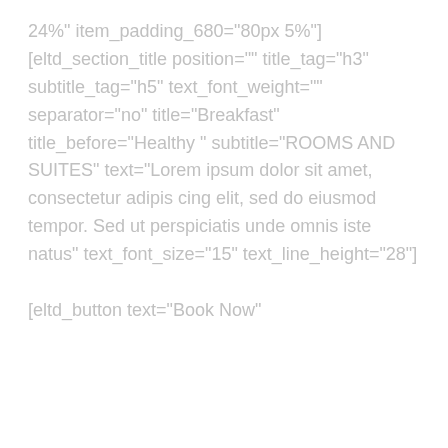24%" item_padding_680="80px 5%"][eltd_section_title position="" title_tag="h3" subtitle_tag="h5" text_font_weight="" separator="no" title="Breakfast" title_before="Healthy " subtitle="ROOMS AND SUITES" text="Lorem ipsum dolor sit amet, consectetur adipis cing elit, sed do eiusmod tempor. Sed ut perspiciatis unde omnis iste natus" text_font_size="15" text_line_height="28"]
[eltd_button text="Book Now"